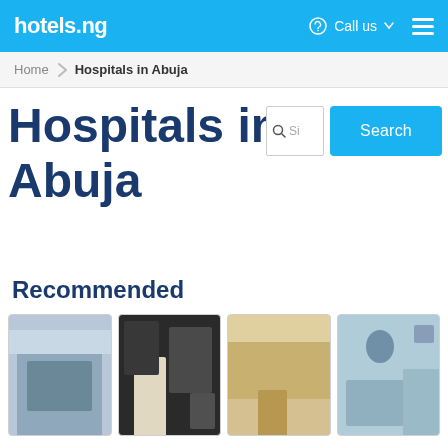hotels.ng  Call us  ☰
Home ▶ Hospitals in Abuja
Hospitals in Abuja
[Figure (screenshot): Search input box with magnifier icon and 'Si' placeholder text, next to a blue 'Search' button]
Recommended
[Figure (photo): Four hospital card images in a row: building exterior, lab technician at microscope, medical room interior, surgical/operating room equipment]